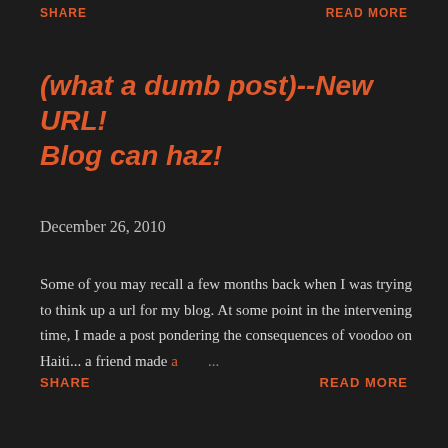SHARE    READ MORE
(what a dumb post)--New URL! Blog can haz!
December 26, 2010
Some of you may recall a few months back when I was trying to think up a url for my blog. At some point in the intervening time, I made a post pondering the consequences of voodoo on Haiti... a friend made a ...
SHARE    READ MORE